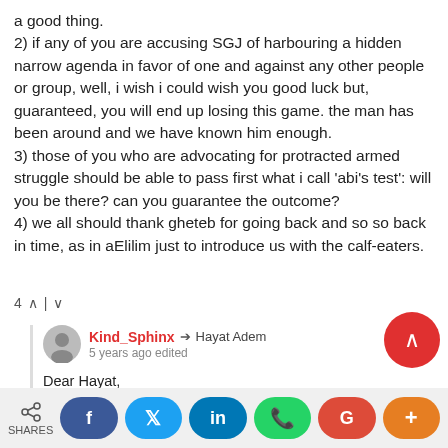a good thing.
2) if any of you are accusing SGJ of harbouring a hidden narrow agenda in favor of one and against any other people or group, well, i wish i could wish you good luck but, guaranteed, you will end up losing this game. the man has been around and we have known him enough.
3) those of you who are advocating for protracted armed struggle should be able to pass first what i call 'abi's test': will you be there? can you guarantee the outcome?
4) we all should thank gheteb for going back and so so back in time, as in aElilim just to introduce us with the calf-eaters.
4 ∧ | ∨
Kind_Sphinx → Hayat Adem
5 years ago edited
Dear Hayat,

I read you saying something judgemental about me. Saleh says he is disappointed by my ideas(or me?), the despicable Tesfaberhan says whatever comes in to his mouth a…